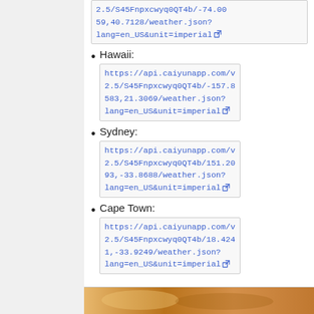Hawaii: https://api.caiyunapp.com/v2.5/S45Fnpxcwyq0QT4b/-157.8583,21.3069/weather.json?lang=en_US&unit=imperial
Sydney: https://api.caiyunapp.com/v2.5/S45Fnpxcwyq0QT4b/151.2093,-33.8688/weather.json?lang=en_US&unit=imperial
Cape Town: https://api.caiyunapp.com/v2.5/S45Fnpxcwyq0QT4b/18.4241,-33.9249/weather.json?lang=en_US&unit=imperial
[Figure (photo): Partial view of an image strip at the bottom of the page, showing warm orange/brown tones]